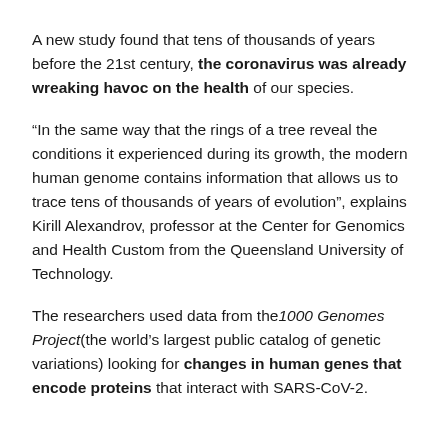A new study found that tens of thousands of years before the 21st century, the coronavirus was already wreaking havoc on the health of our species.
“In the same way that the rings of a tree reveal the conditions it experienced during its growth, the modern human genome contains information that allows us to trace tens of thousands of years of evolution”, explains Kirill Alexandrov, professor at the Center for Genomics and Health Custom from the Queensland University of Technology.
The researchers used data from the 1000 Genomes Project (the world’s largest public catalog of genetic variations) looking for changes in human genes that encode proteins that interact with SARS-CoV-2.